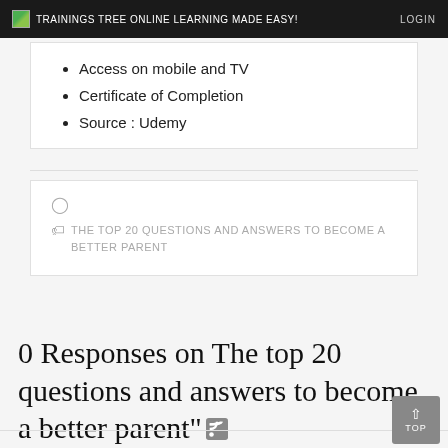TRAININGS TREE ONLINE LEARNING MADE EASY! | LOGIN
Access on mobile and TV
Certificate of Completion
Source : Udemy
THE TOP 20 QUESTIONS AND ANSWERS TO BECOME A BETTER PARENT
0 Responses on The top 20 questions and answers to become a better parent"